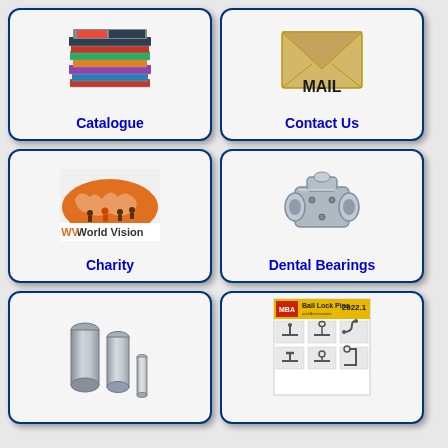[Figure (illustration): Stack of books/catalogues]
Catalogue
[Figure (illustration): Mail envelope icon]
Contact Us
[Figure (logo): World Vision logo with orange world map and people]
Charity
[Figure (photo): Dental bearing / mechanical coupling part]
Dental Bearings
[Figure (photo): Metal cylindrical pins of various sizes]
[Figure (illustration): MBA 2022.1 Ball Lock Pins catalogue cover]